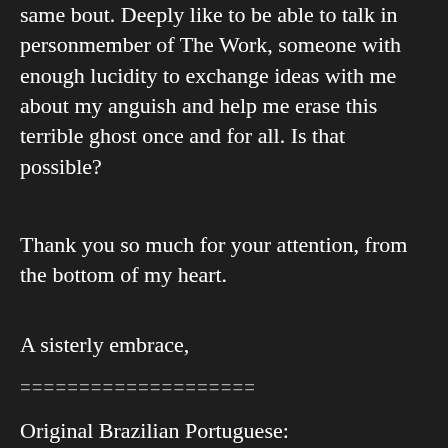same bout. Deep…ly like to be able to talk in person…member of The Work, someone with enough lucidity to exchange ideas with me about my anguish and help me erase this terrible ghost once and for all. Is that possible?
[Figure (other): Orange 'Translate »' button overlay]
Thank you so much for your attention, from the bottom of my heart.
A sisterly embrace,
====================
Original Brazilian Portuguese: